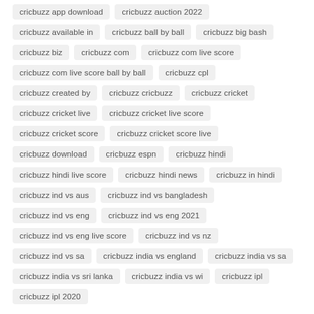cricbuzz app download
cricbuzz auction 2022
cricbuzz available in
cricbuzz ball by ball
cricbuzz big bash
cricbuzz biz
cricbuzz com
cricbuzz com live score
cricbuzz com live score ball by ball
cricbuzz cpl
cricbuzz created by
cricbuzz cricbuzz
cricbuzz cricket
cricbuzz cricket live
cricbuzz cricket live score
cricbuzz cricket score
cricbuzz cricket score live
cricbuzz download
cricbuzz espn
cricbuzz hindi
cricbuzz hindi live score
cricbuzz hindi news
cricbuzz in hindi
cricbuzz ind vs aus
cricbuzz ind vs bangladesh
cricbuzz ind vs eng
cricbuzz ind vs eng 2021
cricbuzz ind vs eng live score
cricbuzz ind vs nz
cricbuzz ind vs sa
cricbuzz india vs england
cricbuzz india vs sa
cricbuzz india vs sri lanka
cricbuzz india vs wi
cricbuzz ipl
cricbuzz ipl 2020